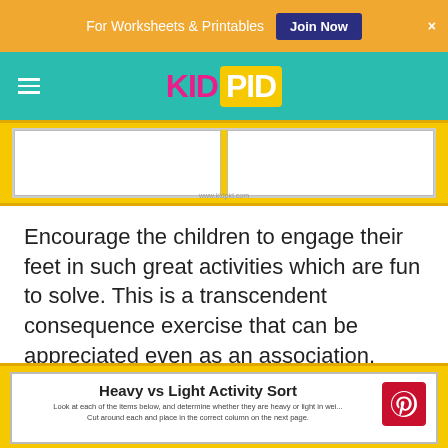For Worksheets & Printables  Join Now  ×
KID PID
[Figure (illustration): Partial view of a yellow-bordered worksheet with two white columns]
Encourage the children to engage their feet in such great activities which are fun to solve. This is a transcendent consequence exercise that can be appreciated even as an association.
[Figure (illustration): Bottom portion of a worksheet titled 'Heavy vs Light Activity Sort' with Pinterest logo in the corner. Subtitle: Look at each of the items below, and determine whether they are heavy or light in weight. Cut around each and place in the correct column on the next page.]